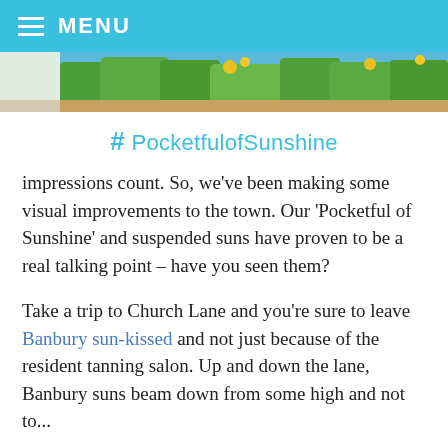MENU
[Figure (photo): Partial view of a garden/tropical scene with green foliage and yellow flowers against a blue sky background]
#PocketfulofSunshine
impressions count. So, we've been making some visual improvements to the town. Our ‘Pocketful of Sunshine’ and suspended suns have proven to be a real talking point – have you seen them?
Take a trip to Church Lane and you’re sure to leave Banbury sun-kissed and not just because of the resident tanning salon. Up and down the lane, Banbury suns beam down from some high and not so...